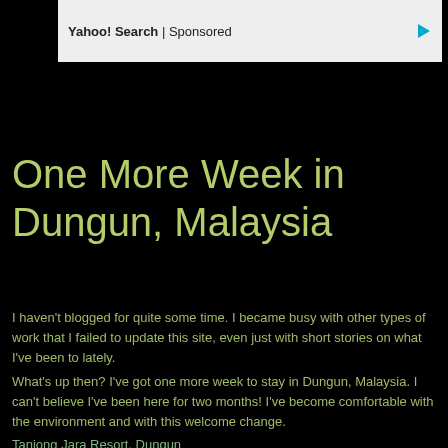Yahoo! Search | Sponsored
One More Week in Dungun, Malaysia
I haven't blogged for quite some time. I became busy with other types of work that I failed to update this site, even just with short stories on what I've been to lately.
What's up then? I've got one more week to stay in Dungun, Malaysia. I can't believe I've been here for two months! I've become comfortable with the environment and with this welcome change.
Tanjong Jara Resort, Dungun
Terengganu, Malaysia